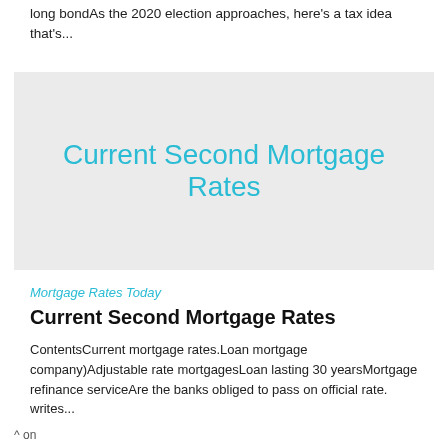long bondAs the 2020 election approaches, here's a tax idea that's...
[Figure (other): Gray placeholder image with text 'Current Second Mortgage Rates' in cyan/teal color centered on the image]
Mortgage Rates Today
Current Second Mortgage Rates
ContentsCurrent mortgage rates.Loan mortgage company)Adjustable rate mortgagesLoan lasting 30 yearsMortgage refinance serviceAre the banks obliged to pass on official rate. writes...